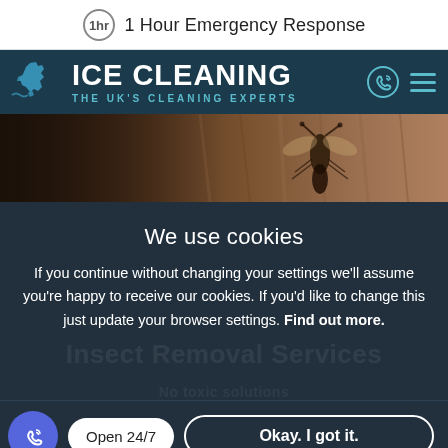1 Hour Emergency Response
[Figure (logo): Ice Cleaning logo with UK map graphic and text 'ICE CLEANING - THE UK'S CLEANING EXPERTS' on dark navy background with phone icon and hamburger menu]
[Figure (photo): Close-up photo of a wasp or insect on a wooden surface, partially blurred, warm brown tones]
We use cookies
If you continue without changing your settings we'll assume you're happy to receive our cookies. If you'd like to change this just update your browser settings. Find out more.
Insect Removal Services
Open 24/7
Okay. I got it.
No toxic solutions